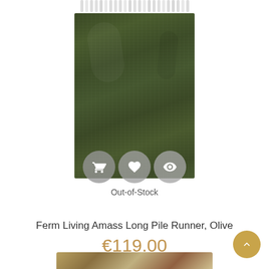[Figure (photo): Olive green long pile runner rug with white fringe at the top, shown vertically. Three circular action buttons overlaid at the bottom of the rug image: shopping cart, heart/wishlist, and eye/view icons. Text below buttons reads 'Out-of-Stock'.]
Ferm Living Amass Long Pile Runner, Olive
€119.00